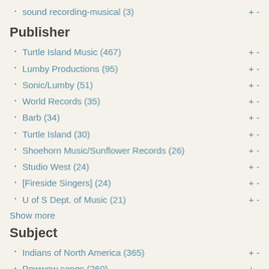sound recording-musical (3)
Publisher
Turtle Island Music (467)
Lumby Productions (95)
Sonic/Lumby (51)
World Records (35)
Barb (34)
Turtle Island (30)
Shoehorn Music/Sunflower Records (26)
Studio West (24)
[Fireside Singers] (24)
U of S Dept. of Music (21)
Show more
Subject
Indians of North America (365)
Powwow songs (260)
Popular music (184)
Choral music (140)
Contemporary Christian music (119)
Choruses with piano (116)